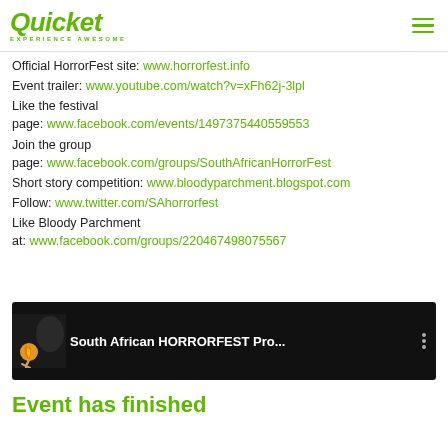Quicket — EXPERIENCE AWESOME
Official HorrorFest site: www.horrorfest.info
Event trailer: www.youtube.com/watch?v=xFh62j-3lpl
Like the festival page: www.facebook.com/events/1497375440559553
Join the group page: www.facebook.com/groups/SouthAfricanHorrorFest
Short story competition: www.bloodyparchment.blogspot.com
Follow: www.twitter.com/SAhorrorfest
Like Bloody Parchment at: www.facebook.com/groups/220467498075567
[Figure (screenshot): Video thumbnail for South African HORRORFEST Pro... with dark background and fire icon]
Event has finished